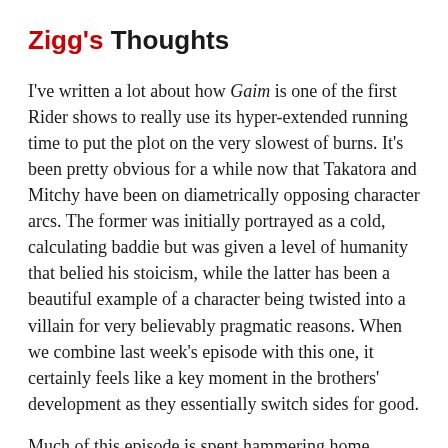Zigg's Thoughts
I've written a lot about how Gaim is one of the first Rider shows to really use its hyper-extended running time to put the plot on the very slowest of burns. It's been pretty obvious for a while now that Takatora and Mitchy have been on diametrically opposing character arcs. The former was initially portrayed as a cold, calculating baddie but was given a level of humanity that belied his stoicism, while the latter has been a beautiful example of a character being twisted into a villain for very believably pragmatic reasons. When we combine last week's episode with this one, it certainly feels like a key moment in the brothers' development as they essentially switch sides for good.
Much of this episode is spent hammering home Takatora's credentials as a good guy and while it's a little ham-fisted for my taste, it does do the job pretty effectively. The flashback, laden with homoerotic tension as it is, is an effective way to communicate the hitherto unseen tension between the Professor and Takatora. It both absolves Takatora of much of his presumed guilt for endorsing the 'Project Ark' while at the same time enhancing Ryouma's credentials as the truly evil one. Juxtaposing Takatora's initial reluctance against his palpable hope when he learns what the Overlords are creates a neat little character arc from him throughout the episode, which is what flashbacks should really be used